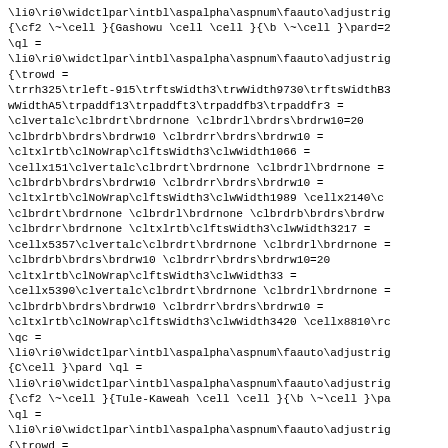\li0\ri0\widctlpar\intbl\aspalpha\aspnum\faauto\adjustrig
{\cf2 \~\cell }{Gashowu \cell \cell }{\b \~\cell }\pard=2
\ql =
\li0\ri0\widctlpar\intbl\aspalpha\aspnum\faauto\adjustrig
{\trowd =
\trrh325\trleft-915\trftsWidth3\trwWidth9730\trftsWidthB3
wWidthA5\trpaddf13\trpaddft3\trpaddfb3\trpaddfr3 =
\clvertalc\clbrdrt\brdrnone \clbrdrl\brdrs\brdrw10=20
\clbrdrb\brdrs\brdrw10 \clbrdrr\brdrs\brdrw10 =
\cltxlrtb\clNoWrap\clftsWidth3\clwWidth1066 =
\cellx151\clvertalc\clbrdrt\brdrnone \clbrdrl\brdrnone =
\clbrdrb\brdrs\brdrw10 \clbrdrr\brdrs\brdrw10 =
\cltxlrtb\clNoWrap\clftsWidth3\clwWidth1989 \cellx2140\c
\clbrdrt\brdrnone \clbrdrl\brdrnone \clbrdrb\brdrs\brdrw
\clbrdrr\brdrnone \cltxlrtb\clftsWidth3\clwWidth3217 =
\cellx5357\clvertalc\clbrdrt\brdrnone \clbrdrl\brdrnone =
\clbrdrb\brdrs\brdrw10 \clbrdrr\brdrs\brdrw10=20
\cltxlrtb\clNoWrap\clftsWidth3\clwWidth33 =
\cellx5390\clvertalc\clbrdrt\brdrnone \clbrdrl\brdrnone =
\clbrdrb\brdrs\brdrw10 \clbrdrr\brdrs\brdrw10 =
\cltxlrtb\clNoWrap\clftsWidth3\clwWidth3420 \cellx8810\rc
\qc =
\li0\ri0\widctlpar\intbl\aspalpha\aspnum\faauto\adjustrig
{C\cell }\pard \ql =
\li0\ri0\widctlpar\intbl\aspalpha\aspnum\faauto\adjustrig
{\cf2 \~\cell }{Tule-Kaweah \cell \cell }{\b \~\cell }\pa
\ql =
\li0\ri0\widctlpar\intbl\aspalpha\aspnum\faauto\adjustrig
{\trowd =
\trrh325\trleft-915\trftsWidth3\trwWidth9730\trftsWidthB3